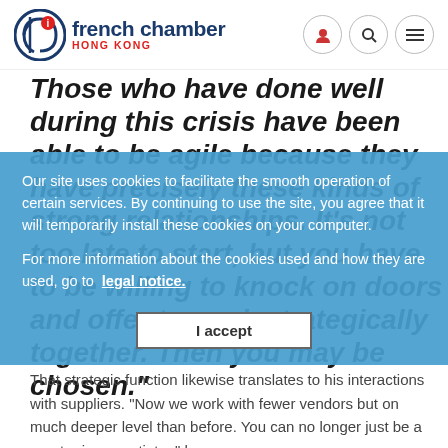french chamber HONG KONG
Those who have done well during this crisis have been able to be agile because they have precisely these kinds of strong relationships. It's not too late to start, but you have to be willing to knock on doors and offer to work strategically together. Then you may be chosen."
Our site uses cookies to facilitate the smooth operation of certain services. By continuing to use the site, you agree that it will temporarily install these cookies on your computer.
For more information about the cookies used and how they are used, go to legal notice.
I accept
That strategic function likewise translates to his interactions with suppliers. "Now we work with fewer vendors but on much deeper level than before. You can no longer just be a great price negotiator," he says.
He spends more time than ever on planning future